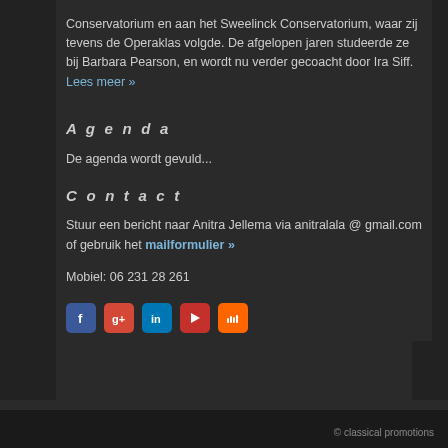Conservatorium en aan het Sweelinck Conservatorium, waar zij tevens de Operaklas volgde. De afgelopen jaren studeerde ze bij Barbara Pearson, en wordt nu verder gecoacht door Ira Siff. Lees meer »
Agenda
De agenda wordt gevuld...
Contact
Stuur een bericht naar Anitra Jellema via anitralala @ gmail.com of gebruik het mailformulier »
Mobiel: 06 231 28 261
[Figure (infographic): Row of social media icons: Facebook (blue), Google+ (red), LinkedIn (blue), YouTube (red), SoundCloud (orange)]
© classical promotions